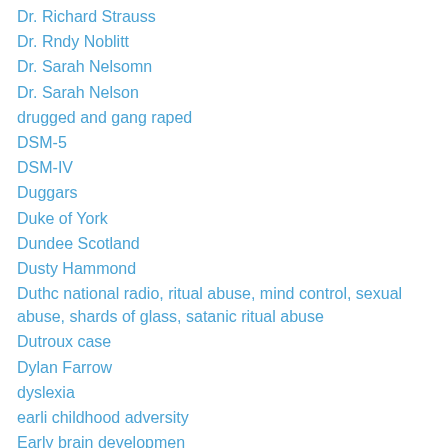Dr. Richard Strauss
Dr. Rndy Noblitt
Dr. Sarah Nelsomn
Dr. Sarah Nelson
drugged and gang raped
DSM-5
DSM-IV
Duggars
Duke of York
Dundee Scotland
Dusty Hammond
Duthc national radio, ritual abuse, mind control, sexual abuse, shards of glass, satanic ritual abuse
Dutroux case
Dylan Farrow
dyslexia
earli childhood adversity
Early brain developmen
Early brain development
Early Life Stress